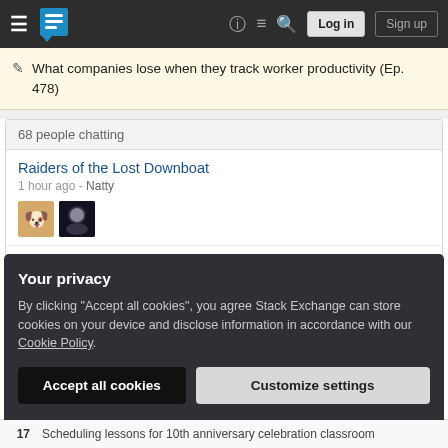Stack Exchange navigation bar with hamburger menu, logo, help, chat, search, Log in, Sign up
What companies lose when they track worker productivity (Ep. 478)
68 people chatting
Raiders of the Lost Downboat
1 hour ago - Natty
Ask Ubuntu General Room
Aug 28 at 13:33 - karel
Your privacy
By clicking "Accept all cookies", you agree Stack Exchange can store cookies on your device and disclose information in accordance with our Cookie Policy.
Accept all cookies   Customize settings
17   Scheduling lessons for 10th anniversary celebration classroom